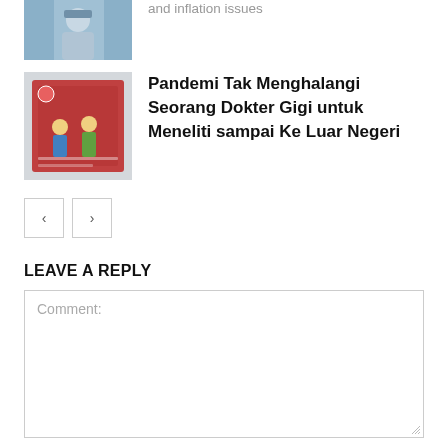[Figure (photo): Partial image of a person (partially cropped at top), blue/grey tones]
and inflation issues
[Figure (photo): Small reddish/dark book or magazine cover image with illustrated figures]
Pandemi Tak Menghalangi Seorang Dokter Gigi untuk Meneliti sampai Ke Luar Negeri
[Figure (other): Previous navigation button (left arrow)]
[Figure (other): Next navigation button (right arrow)]
LEAVE A REPLY
Comment:
Name:*